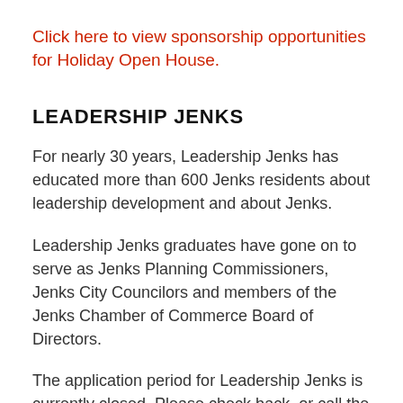Click here to view sponsorship opportunities for Holiday Open House.
LEADERSHIP JENKS
For nearly 30 years, Leadership Jenks has educated more than 600 Jenks residents about leadership development and about Jenks.
Leadership Jenks graduates have gone on to serve as Jenks Planning Commissioners, Jenks City Councilors and members of the Jenks Chamber of Commerce Board of Directors.
The application period for Leadership Jenks is currently closed. Please check back, or call the